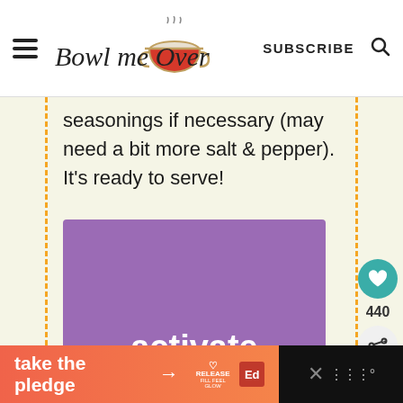Bowl me Over — SUBSCRIBE
seasonings if necessary (may need a bit more salt & pepper). It's ready to serve!
[Figure (infographic): Purple advertisement banner reading 'activate your wellness plan' in white and yellow text with decorative sparkle elements]
[Figure (infographic): Bottom orange-red gradient banner with text 'take the pledge' with arrow, Release logo, and Ed badge. Dark section on right with close X icon.]